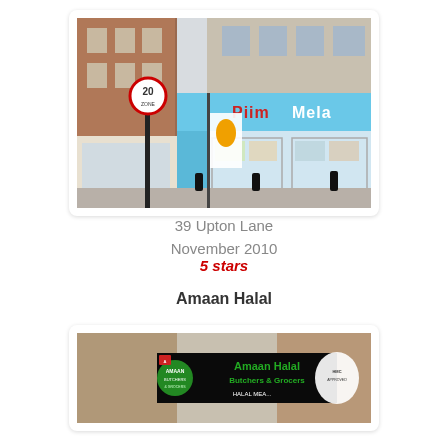[Figure (photo): Street-level photograph of a shop front at 39 Upton Lane, showing a blue-fronted store with 'Piin Mela' signage, a 20 mph zone road sign, and bollards on the pavement.]
39 Upton Lane
November 2010
5 stars
Amaan Halal
[Figure (photo): Photograph of the Amaan Halal Butchers & Grocers shop front sign, showing the green logo and text 'Amaan Halal Butchers & Grocers' with 'HALAL MEAT' text visible below.]